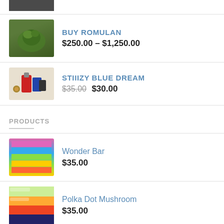[Figure (photo): Partial product image at top, cropped]
BUY ROMULAN
$250.00 – $1,250.00
STIIIZY BLUE DREAM
$35.00 (original) $30.00 (sale)
PRODUCTS
Wonder Bar
$35.00
Polka Dot Mushroom
$35.00
One Up Psilocybin Gummies